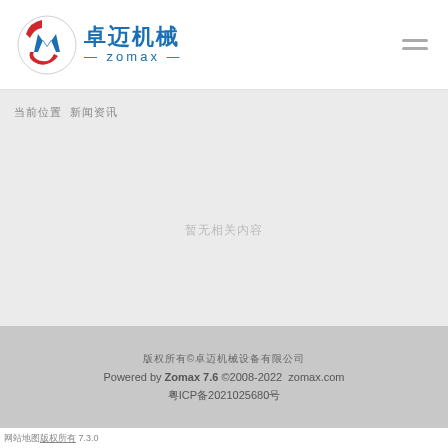[Figure (logo): Zomax company logo with circular emblem in red and blue, Chinese text 卓迈机械 and subtitle — zomax —]
当前位置  新闻资讯
暂无相关内容
版权所有©卓迈机械设备有限公司
Powered by Zomax 7.6 ©2008-2022  zomax.com
粤ICP备2021025680号
网站地图版权所有 7.3.0